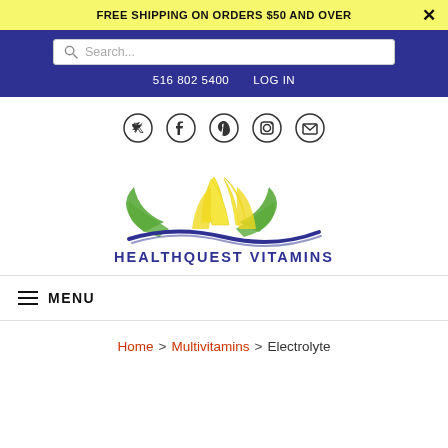FREE SHIPPING ON ORDERS $50 AND OVER
Search...
516 802 5400   LOG IN
[Figure (other): Social media icons: Twitter, Facebook, Pinterest, Instagram, Email]
[Figure (logo): HealthQuest Vitamins logo with lotus flower in yellow and green, blue wave, and text HEALTHQUEST VITAMINS]
MENU
Home > Multivitamins > Electrolyte